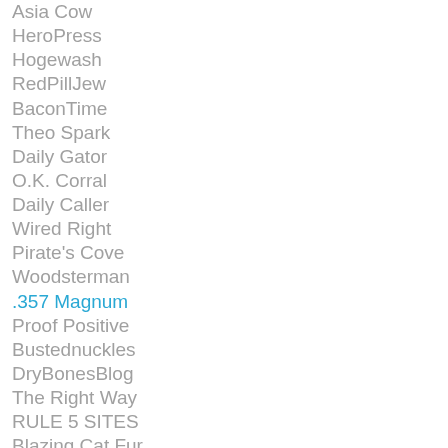Asia Cow
HeroPress
Hogewash
RedPillJew
BaconTime
Theo Spark
Daily Gator
O.K. Corral
Daily Caller
Wired Right
Pirate's Cove
Woodsterman
.357 Magnum
Proof Positive
Bustednuckles
DryBonesBlog
The Right Way
RULE 5 SITES
Blazing Cat Fur
MissK's World...
By Other Means
American Digest
American Power